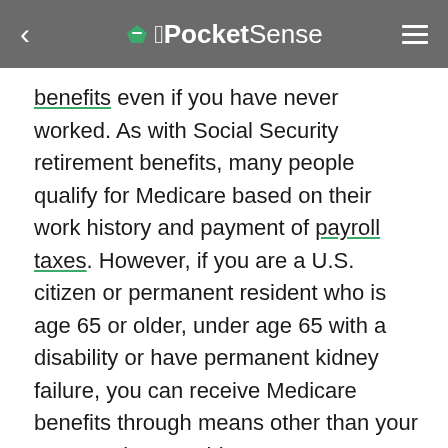PocketSense
benefits even if you have never worked. As with Social Security retirement benefits, many people qualify for Medicare based on their work history and payment of payroll taxes. However, if you are a U.S. citizen or permanent resident who is age 65 or older, under age 65 with a disability or have permanent kidney failure, you can receive Medicare benefits through means other than your own employment history.